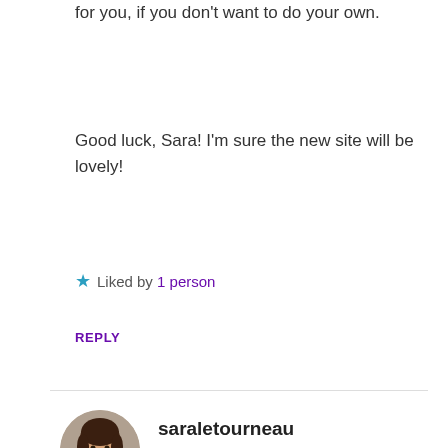it's pretty easy to find someone to do a header for you, if you don't want to do your own.
Good luck, Sara! I'm sure the new site will be lovely!
★ Liked by 1 person
REPLY
saraletourneau
APRIL 27, 2015 AT 9:44 AM
Thanks for all of your suggestions, Tammy! 🙂 What is the difference between WordPress.com and